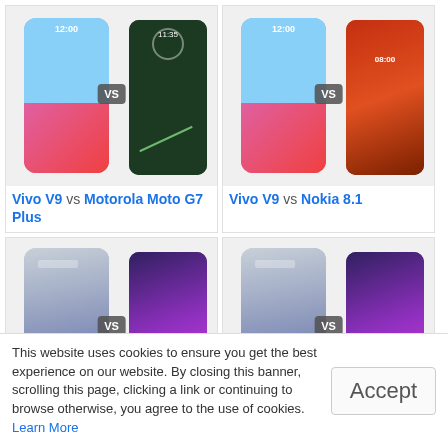[Figure (screenshot): Phone comparison card: Vivo V9 vs Motorola Moto G7 Plus with two phone images and VS badge]
Vivo V9 vs Motorola Moto G7 Plus
[Figure (screenshot): Phone comparison card: Vivo V9 vs Nokia 8.1 with two phone images and VS badge]
Vivo V9 vs Nokia 8.1
[Figure (screenshot): Phone comparison card: Realme 3i 4GB RMX1827 vs Xiaomi Redmi K20 with two phone images and VS badge]
Realme 3i – 4GB RMX1827 vs Xiaomi Redmi K20
[Figure (screenshot): Phone comparison card: Realme 3i 4GB RMX1827 vs Xiaomi Redmi K20 with two phone images and VS badge]
Realme 3i – 4GB RMX1827 vs Xiaomi Redmi K20 –
This website uses cookies to ensure you get the best experience on our website. By closing this banner, scrolling this page, clicking a link or continuing to browse otherwise, you agree to the use of cookies. Learn More
Accept